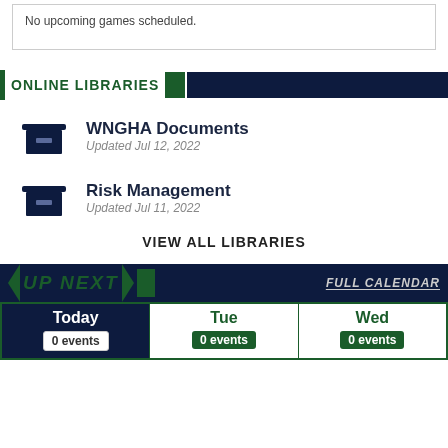No upcoming games scheduled.
ONLINE LIBRARIES
[Figure (other): Archive box icon for WNGHA Documents]
WNGHA Documents
Updated Jul 12, 2022
[Figure (other): Archive box icon for Risk Management]
Risk Management
Updated Jul 11, 2022
VIEW ALL LIBRARIES
UP NEXT
FULL CALENDAR
| Today | Tue | Wed |
| --- | --- | --- |
| 0 events | 0 events | 0 events |